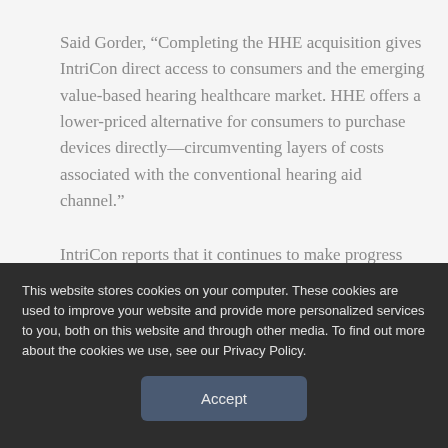Said Gorder, “Completing the HHE acquisition gives IntriCon direct access to consumers and the emerging value-based hearing healthcare market. HHE offers a lower-priced alternative for consumers to purchase devices directly—circumventing layers of costs associated with the conventional hearing aid channel.”
IntriCon reports that it continues to make progress integrating and optimizing HHE. During the fourth quarter, the company continued to increase its
This website stores cookies on your computer. These cookies are used to improve your website and provide more personalized services to you, both on this website and through other media. To find out more about the cookies we use, see our Privacy Policy.